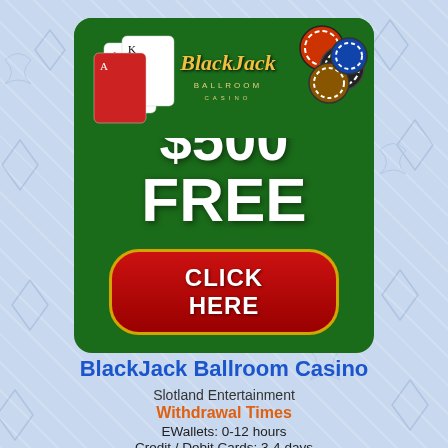[Figure (illustration): BlackJack Ballroom Casino advertisement banner on light blue card-patterned background. Green rounded rectangle casino banner showing '$500 FREE' in large white text, a BlackJack Ballroom Casino logo at top with playing cards and chips, and a red 'CLICK HERE' button with gold border.]
BlackJack Ballroom Casino
Slotland Entertainment
Withdrawal Times
EWallets: 0-12 hours
Credit / Debit Cards: 3-4 days
Bank Transfers: 1-3 days
Cheques: 3-4 days